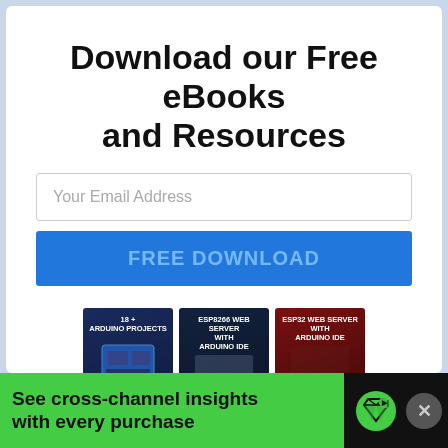Download our Free eBooks and Resources
Your Email Address
FREE DOWNLOAD
[Figure (illustration): Stack of eBook covers: 18+ Arduino Projects, ESP8266 Web Server with Arduino IDE, ESP32 Web Server with Arduino IDE, Ultimate Guide for Arduino Shields, Arduino Mini Course]
See cross-channel insights with every purchase